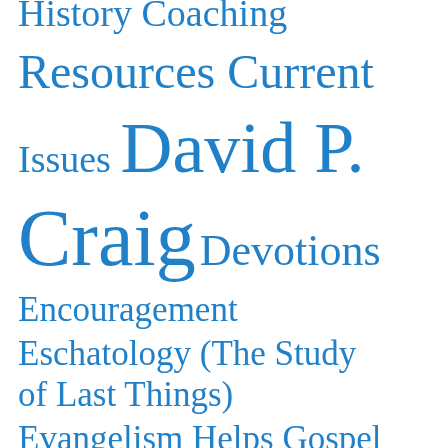History Coaching Resources Current Issues David P. Craig Devotions Encouragement Eschatology (The Study of Last Things) Evangelism Helps Gospel
History Coaching
Resources Current
Issues David P.
Craig Devotions
Encouragement
Eschatology (The Study of Last Things)
Evangelism Helps Gospel